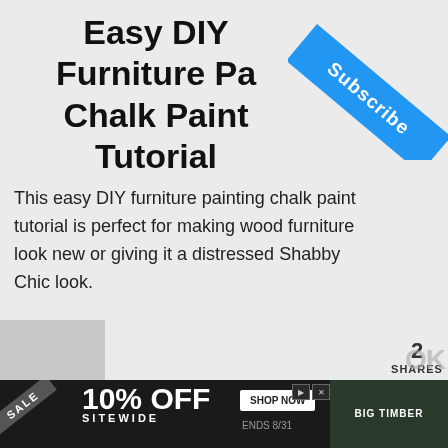Easy DIY Furniture Painting Chalk Paint Tutorial
This easy DIY furniture painting chalk paint tutorial is perfect for making wood furniture look new or giving it a distressed Shabby Chic look.
Continue Reading
[Figure (infographic): Social share sidebar with Facebook, Twitter, Pinterest buttons and count of 2 shares]
[Figure (photo): Subscribe ribbon in blue diagonal banner at top right corner]
~ Glow Luminary Pumpkin Table ~
[Figure (photo): Orange pumpkin-shaped mason jar with candle light inside, decorated with jack-o-lantern face. Video overlay showing 'No compatible source was found for this media.']
[Figure (advertisement): Ad banner: SALE 10% OFF SITEWIDE, SHOP NOW, ENDS 8/31, BIG TIMBER advertisement]